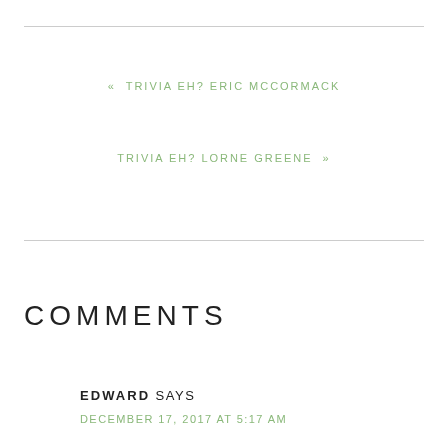« TRIVIA EH? ERIC MCCORMACK
TRIVIA EH? LORNE GREENE »
COMMENTS
EDWARD SAYS
DECEMBER 17, 2017 AT 5:17 AM